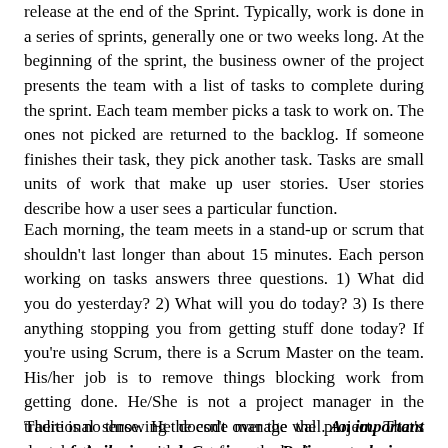They are all team members and are working to the same goal release at the end of the Sprint. Typically, work is done in a series of sprints, generally one or two weeks long. At the beginning of the sprint, the business owner of the project presents the team with a list of tasks to complete during the sprint. Each team member picks a task to work on. The ones not picked are returned to the backlog. If someone finishes their task, they pick another task. Tasks are small units of work that make up user stories. User stories describe how a user sees a particular function.
Each morning, the team meets in a stand-up or scrum that shouldn't last longer than about 15 minutes. Each person working on tasks answers three questions. 1) What did you do yesterday? 2) What will you do today? 3) Is there anything stopping you from getting stuff done today? If you're using Scrum, there is a Scrum Master on the team. His/her job is to remove things blocking work from getting done. He/She is not a project manager in the traditional sense. He doesn't manage the project. That's done by the team with input from the business owner.
There is no throwing the code over the wall. An important part of Agile is good Continuous Delivery techniques where